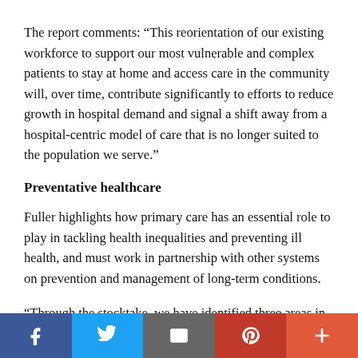The report comments: “This reorientation of our existing workforce to support our most vulnerable and complex patients to stay at home and access care in the community will, over time, contribute significantly to efforts to reduce growth in hospital demand and signal a shift away from a hospital-centric model of care that is no longer suited to the population we serve.”
Preventative healthcare
Fuller highlights how primary care has an essential role to play in tackling health inequalities and preventing ill health, and must work in partnership with other systems on prevention and management of long-term conditions.
“Through the stocktake, we have identified three areas in